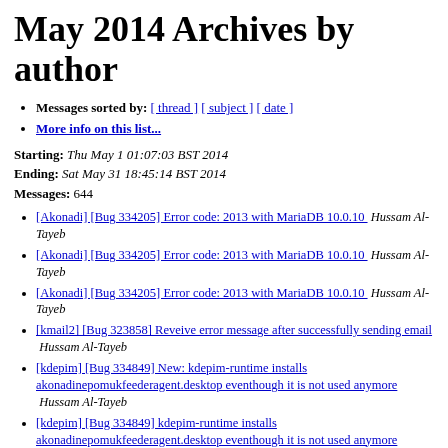May 2014 Archives by author
Messages sorted by: [ thread ] [ subject ] [ date ]
More info on this list...
Starting: Thu May 1 01:07:03 BST 2014
Ending: Sat May 31 18:45:14 BST 2014
Messages: 644
[Akonadi] [Bug 334205] Error code: 2013 with MariaDB 10.0.10   Hussam Al-Tayeb
[Akonadi] [Bug 334205] Error code: 2013 with MariaDB 10.0.10   Hussam Al-Tayeb
[Akonadi] [Bug 334205] Error code: 2013 with MariaDB 10.0.10   Hussam Al-Tayeb
[kmail2] [Bug 323858] Reveive error message after successfully sending email   Hussam Al-Tayeb
[kdepim] [Bug 334849] New: kdepim-runtime installs akonadinepomukfeederagent.desktop eventhough it is not used anymore   Hussam Al-Tayeb
[kdepim] [Bug 334849] kdepim-runtime installs akonadinepomukfeederagent.desktop eventhough it is not used anymore   Hussam Al-Tayeb
[kmail2] [Bug 325525] New: Option for how long store...